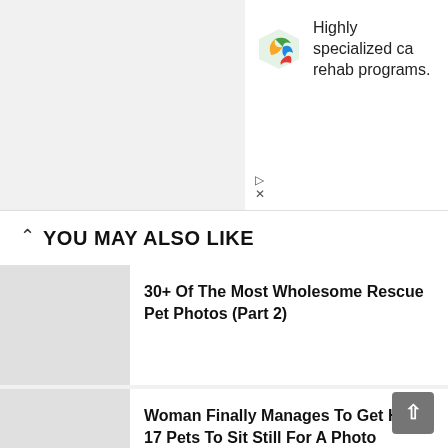[Figure (screenshot): Advertisement banner with colorful leaf/shield logo and text 'Highly specialized ca... rehab programs.' with play and close icons]
YOU MAY ALSO LIKE
30+ Of The Most Wholesome Rescue Pet Photos (Part 2)
Woman Finally Manages To Get Her 17 Pets To Sit Still For A Photo
30+ People Are Posting Proof That Pets Can See Pokémon Go And The Evidence Is More Than Convincing